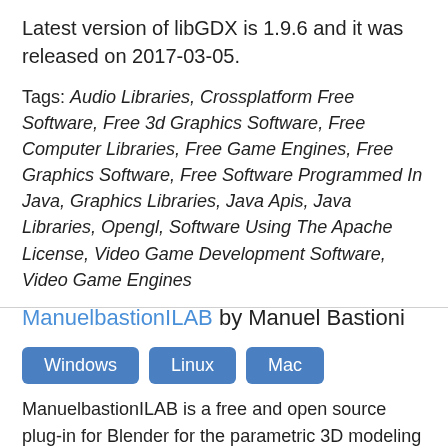Latest version of libGDX is 1.9.6 and it was released on 2017-03-05.
Tags: Audio Libraries, Crossplatform Free Software, Free 3d Graphics Software, Free Computer Libraries, Free Game Engines, Free Graphics Software, Free Software Programmed In Java, Graphics Libraries, Java Apis, Java Libraries, Opengl, Software Using The Apache License, Video Game Development Software, Video Game Engines
ManuelbastionILAB by Manuel Bastioni
Windows
Linux
Mac
ManuelbastionILAB is a free and open source plug-in for Blender for the parametric 3D modeling of photorealistic humanoid characters. It's developed by the artist and programmer Manuel...